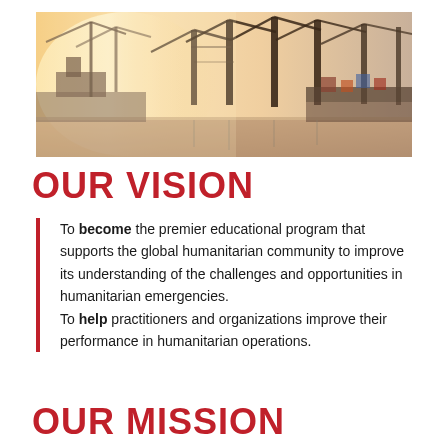[Figure (photo): Harbor/port scene with large cargo cranes, ships, and water in warm golden/hazy morning light]
OUR VISION
To become the premier educational program that supports the global humanitarian community to improve its understanding of the challenges and opportunities in humanitarian emergencies. To help practitioners and organizations improve their performance in humanitarian operations.
OUR MISSION